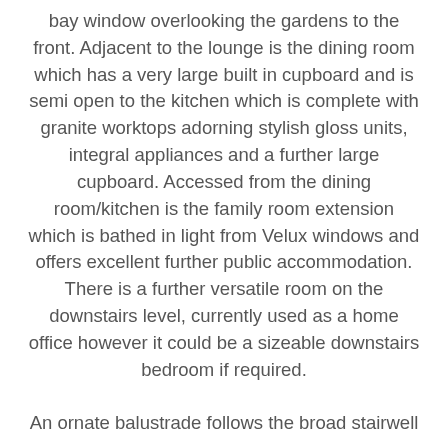bay window overlooking the gardens to the front. Adjacent to the lounge is the dining room which has a very large built in cupboard and is semi open to the kitchen which is complete with granite worktops adorning stylish gloss units, integral appliances and a further large cupboard. Accessed from the dining room/kitchen is the family room extension which is bathed in light from Velux windows and offers excellent further public accommodation. There is a further versatile room on the downstairs level, currently used as a home office however it could be a sizeable downstairs bedroom if required.

An ornate balustrade follows the broad stairwell